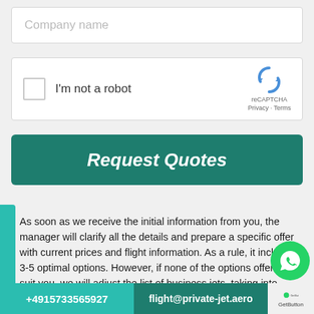[Figure (screenshot): Company name input field (placeholder text visible)]
[Figure (screenshot): reCAPTCHA widget with checkbox labeled 'I'm not a robot' and reCAPTCHA logo]
Request Quotes
As soon as we receive the initial information from you, the manager will clarify all the details and prepare a specific offer with current prices and flight information. As a rule, it includes 3-5 optimal options. However, if none of the options offered will suit you, we will adjust the list of business jets, taking into account your wishes.
+4915733565927 | flight@private-jet.aero